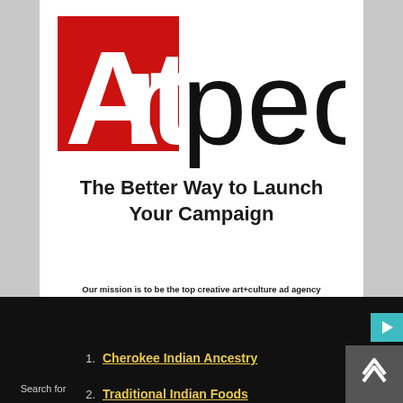[Figure (logo): Artpeople logo: red square with white 'Art' text, followed by black 'people' text]
The Better Way to Launch Your Campaign
Our mission is to be the top creative art+culture ad agency for high quality brands and educational institutions around the world.
Artpeople has a variety of advertising options available including banner
1. Cherokee Indian Ancestry
2. Traditional Indian Foods
Search for